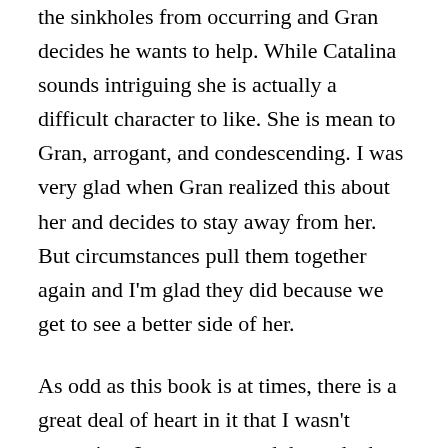the sinkholes from occurring and Gran decides he wants to help. While Catalina sounds intriguing she is actually a difficult character to like. She is mean to Gran, arrogant, and condescending. I was very glad when Gran realized this about her and decides to stay away from her. But circumstances pull them together again and I'm glad they did because we get to see a better side of her.
As odd as this book is at times, there is a great deal of heart in it that I wasn't expecting. It occurs toward the end when we finally get to the part where we learn who and what the Lifters truly are and what their role is and to be honest I became a little emotional over it. I credit the narrator and author for giving such a good performance